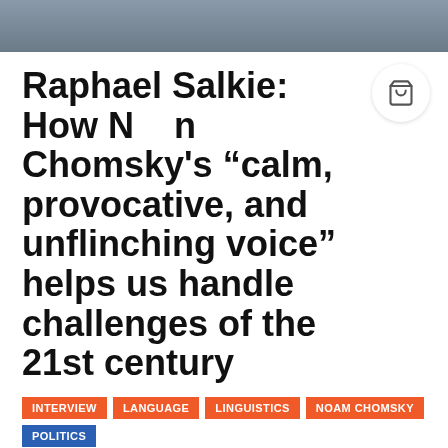[Figure (photo): Partial photo of a person wearing a grey shirt, cropped at the top of the page]
Raphael Salkie: How Noam Chomsky's “calm, provocative, and unflinching voice” helps us handle challenges of the 21st century
INTERVIEW
LANGUAGE
LINGUISTICS
NOAM CHOMSKY
POLITICS
By Charles Carlini  |  October 18, 2020  |  No Comments
American linguist, philosopher, and political activist, Noam Chomsky (December 7, 1928) is